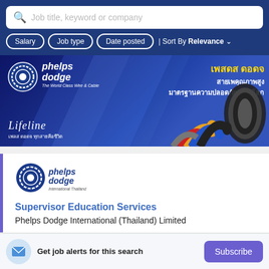[Figure (screenshot): Search bar with placeholder text 'Job title, keyword or company' and filter buttons for Salary, Job type, Date posted, and Sort By Relevance on a blue background]
[Figure (photo): Phelps Dodge banner advertisement showing the company logo, Thai language promotional text, and image of cables]
[Figure (logo): Phelps Dodge International Thailand company logo]
Supervisor Education Services
Phelps Dodge International (Thailand) Limited
Get job alerts for this search